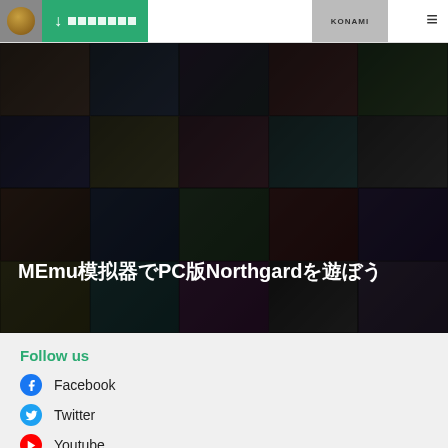MEmu download | ダウンロード | Konami | menu
[Figure (screenshot): Hero section with dark game grid background showing various game covers]
MEmu模拟器PC版Northgard攻略教程
Follow us
Facebook
Twitter
Youtube